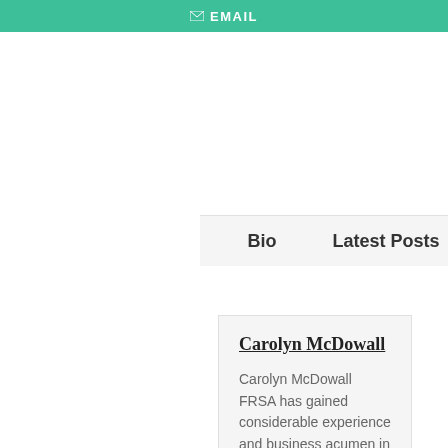[Figure (other): Teal/green EMAIL button with envelope icon]
Bio
Latest Posts
Carolyn McDowall
Carolyn McDowall FRSA has gained considerable experience and business acumen in her professional career. An independent cultural and social historian, Carolyn is an interior designer by trade. She has been involved in the creative sector for over thirty years in Australia;